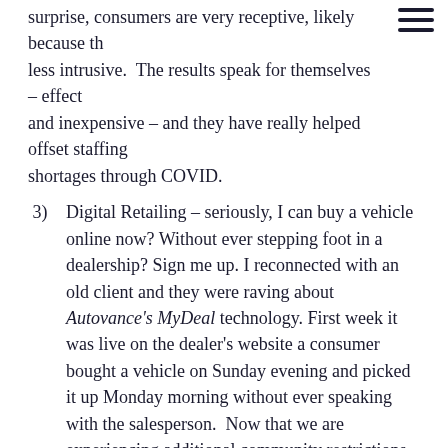surprise, consumers are very receptive, likely because the less intrusive. The results speak for themselves – effective and inexpensive – and they have really helped offset staffing shortages through COVID.
3) Digital Retailing – seriously, I can buy a vehicle online now? Without ever stepping foot in a dealership? Sign me up. I reconnected with an old client and they were raving about Autovance's MyDeal technology. First week it was live on the dealer's website a consumer bought a vehicle on Sunday evening and picked it up Monday morning without ever speaking with the salesperson. Now that we are experiencing additional community restrictions, I'm not sure how dealers would survive without migrating online and virtually for vehicle sales.
4)    BDC...